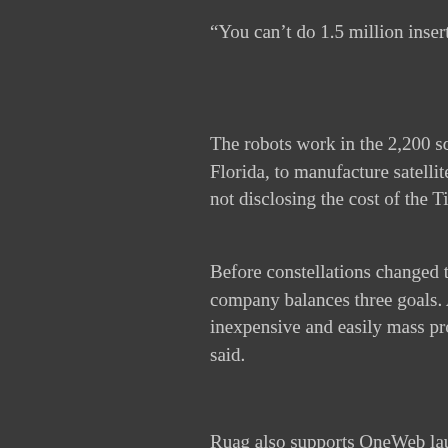“You can’t do 1.5 million inserts ma…
The robots work in the 2,200 square… Florida, to manufacture satellite stru… not disclosing the cost of the Titusvi…
Before constellations changed the r… company balances three goals. A pa… inexpensive and easily mass produ… said.
Ruag also supports OneWeb launc… mechanical ground support equipm…
It was important for Ruag’s facility to… and test facility. While shipping part… components for hundreds or thousa… “Being geographically close to the s… huge impact on the overall business…